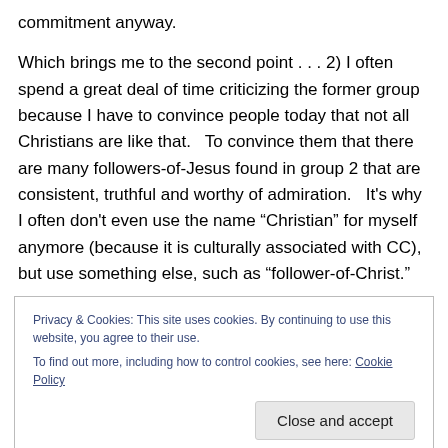commitment anyway.
Which brings me to the second point . . . 2) I often spend a great deal of time criticizing the former group because I have to convince people today that not all Christians are like that.   To convince them that there are many followers-of-Jesus found in group 2 that are consistent, truthful and worthy of admiration.   It's why I often don't even use the name “Christian” for myself anymore (because it is culturally associated with CC), but use something else, such as “follower-of-Christ.”
Privacy & Cookies: This site uses cookies. By continuing to use this website, you agree to their use.
To find out more, including how to control cookies, see here: Cookie Policy
Close and accept
Christians.  And shame on them.